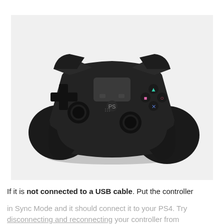[Figure (photo): A black Sony DualShock 4 PlayStation 4 controller shown from a top-front angle against a light grey background. The controller shows the D-pad on the left, dual analog sticks, touchpad in the center, PlayStation button, and face buttons (triangle, square, circle, X) on the right with their colored symbols.]
If it is not connected to a USB cable. Put the controller in Sync Mode and it should connect it to your PS4. Try disconnecting and reconnecting your controller from